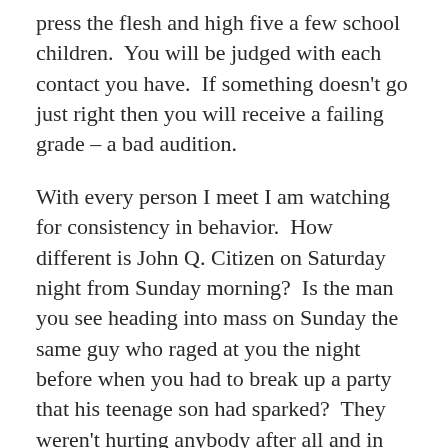press the flesh and high five a few school children.  You will be judged with each contact you have.  If something doesn't go just right then you will receive a failing grade – a bad audition.
With every person I meet I am watching for consistency in behavior.  How different is John Q. Citizen on Saturday night from Sunday morning?  Is the man you see heading into mass on Sunday the same guy who raged at you the night before when you had to break up a party that his teenage son had sparked?  They weren't hurting anybody after all and in spite of being minors using alcohol he had taken all the car keys.  What is all the fuss